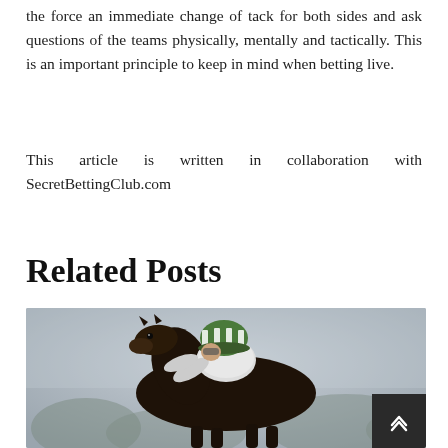the force an immediate change of tack for both sides and ask questions of the teams physically, mentally and tactically. This is an important principle to keep in mind when betting live.
This article is written in collaboration with SecretBettingClub.com
Related Posts
[Figure (photo): A jockey wearing a green and white striped hat riding a dark horse at speed during a horse race, blurred background of trees.]